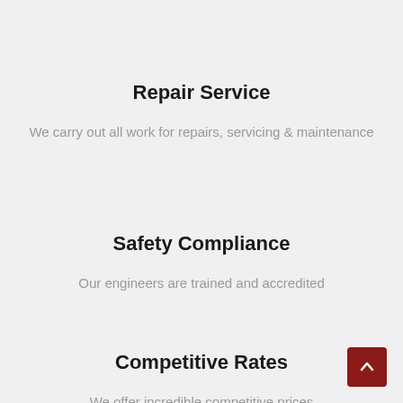Repair Service
We carry out all work for repairs, servicing & maintenance
Safety Compliance
Our engineers are trained and accredited
Competitive Rates
We offer incredible competitive prices